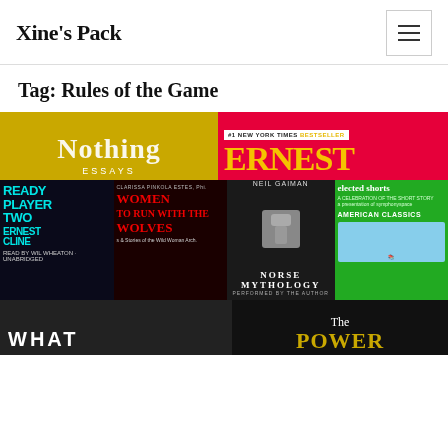Xine's Pack
Tag: Rules of the Game
[Figure (photo): Grid of book covers including: Nothing Essays (yellow cover), One Ernest (red/yellow cover), Ready Player Two by Ernest Cline (dark cover with cyan text), Women Who Run With the Wolves by Clarissa Pinkola Estes (dark red cover), Norse Mythology by Neil Gaiman (dark cover with hammer), Elected Shorts American Classics (green cover), What (dark photo cover), The Power (dark cover with gold text)]